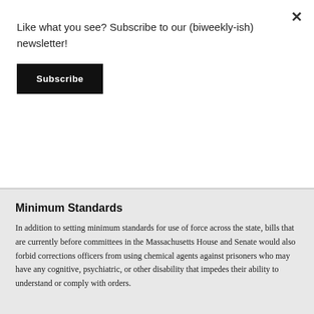Like what you see? Subscribe to our (biweekly-ish) newsletter!
Subscribe
Minimum Standards
In addition to setting minimum standards for use of force across the state, bills that are currently before committees in the Massachusetts House and Senate would also forbid corrections officers from using chemical agents against prisoners who may have any cognitive, psychiatric, or other disability that impedes their ability to understand or comply with orders.
White also said that lasting reform depends on establishing